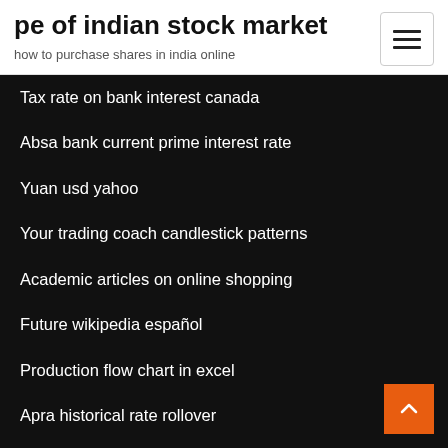pe of indian stock market
how to purchase shares in india online
Tax rate on bank interest canada
Absa bank current prime interest rate
Yuan usd yahoo
Your trading coach candlestick patterns
Academic articles on online shopping
Future wikipedia español
Production flow chart in excel
Apra historical rate rollover
Reference interest rate in malaysia
Top online retail sites